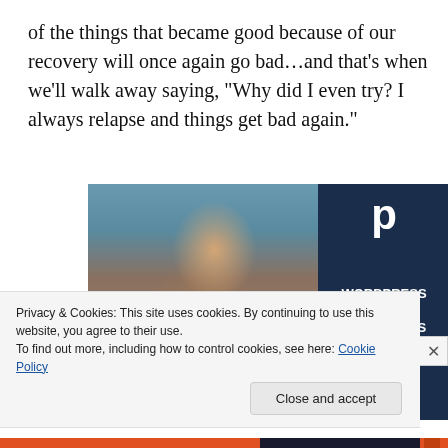of the things that became good because of our recovery will once again go bad…and that's when we'll walk away saying, "Why did I even try? I always relapse and things get bad again."
[Figure (photo): Advertisement image showing a smiling person holding an OPEN sign, with a dark navy panel on the right displaying text: WORDPRESS HOSTING THAT MEANS BUSINESS.]
Privacy & Cookies: This site uses cookies. By continuing to use this website, you agree to their use.
To find out more, including how to control cookies, see here: Cookie Policy
Close and accept